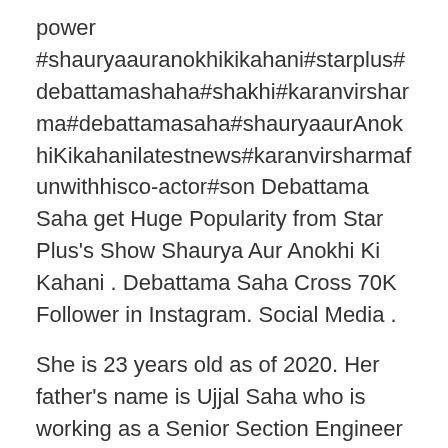power #shauryaauranokhikikahani#starplus#debattamashaha#shakhi#karanvirsharma#debattamasaha#shauryaaurAnokhiKikahanilatestnews#karanvirsharmafunwithhisco-actor#son Debattama Saha get Huge Popularity from Star Plus's Show Shaurya Aur Anokhi Ki Kahani . Debattama Saha Cross 70K Follower in Instagram. Social Media .
She is 23 years old as of 2020. Her father's name is Ujjal Saha who is working as a Senior Section Engineer at Nf Railway and her mother's name is Maitreyee Saha. She has one younger sibling, Ojaswita Saha. She did her schooling at Don Bosco High School, Silchar. View the profiles of people named Debattama Saha. Join Facebook to connect with Debattama Saha and others you may know.